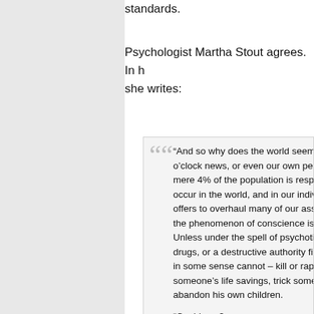standards.
Psychologist Martha Stout agrees. In her book she writes:
“And so why does the world seem s o’clock news, or even our own pers mere 4% of the population is respon occur in the world, and in our indivic offers to overhaul many of our assu the phenomenon of conscience is o Unless under the spell of psychotic drugs, or a destructive authority figu in some sense cannot – kill or rape someone’s life savings, trick someo abandon his own children.

“Could you?

“When we see people doing such th